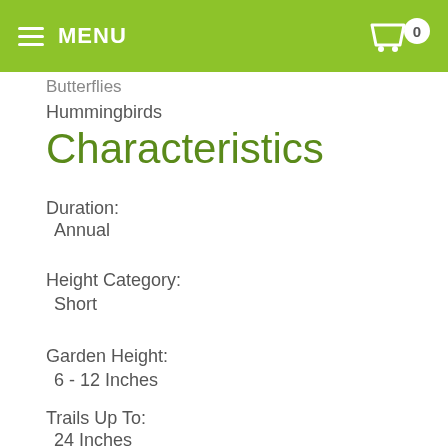MENU
Butterflies
Hummingbirds
Characteristics
Duration:
Annual
Height Category:
Short
Garden Height:
6 - 12 Inches
Trails Up To:
24 Inches